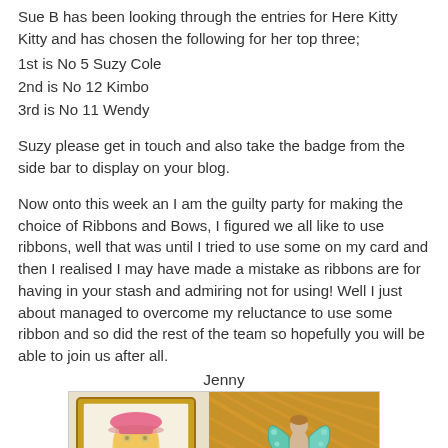Sue B has been looking through the entries for Here Kitty Kitty and has chosen the following for her top three;
1st is No 5 Suzy Cole
2nd is No 12 Kimbo
3rd is No 11 Wendy
Suzy please get in touch and also take the badge from the side bar to display on your blog.
Now onto this week an I am the guilty party for making the choice of Ribbons and Bows, I figured we all like to use ribbons, well that was until I tried to use some on my card and then I realised I may have made a mistake as ribbons are for having in your stash and admiring not for using! Well I just about managed to overcome my reluctance to use some ribbon and so did the rest of the team so hopefully you will be able to join us after all.
Jenny
[Figure (photo): Craft cards featuring illustrations: a framed drawing of a girl in a pink hat, and a decorative butterfly/fairy figure on patterned background.]